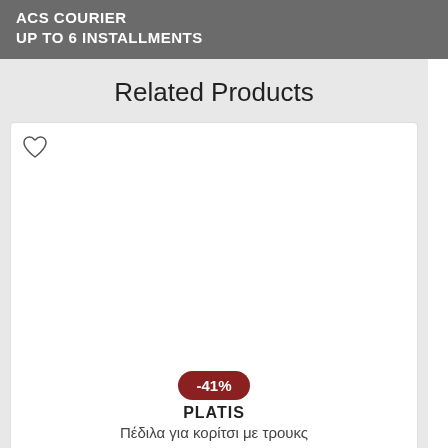ACS COURIER
UP TO 6 INSTALLMENTS
Related Products
[Figure (other): Product card with heart/wishlist icon, empty white product image area, discount badge showing -41%, brand name PLATIS, product name in Greek, and price with strikethrough]
-41%
PLATIS
Πέδιλα για κορίτσι με τρουκς
25.990 [strikethrough price]